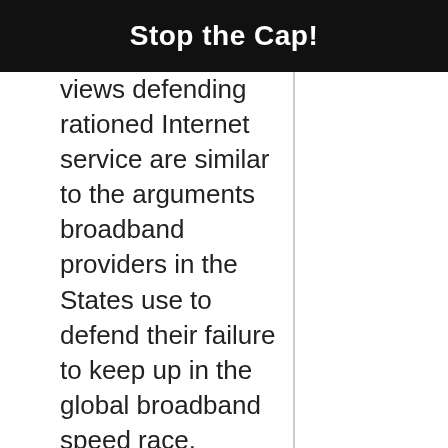Stop the Cap!
views defending rationed Internet service are similar to the arguments broadband providers in the States use to defend their failure to keep up in the global broadband speed race.